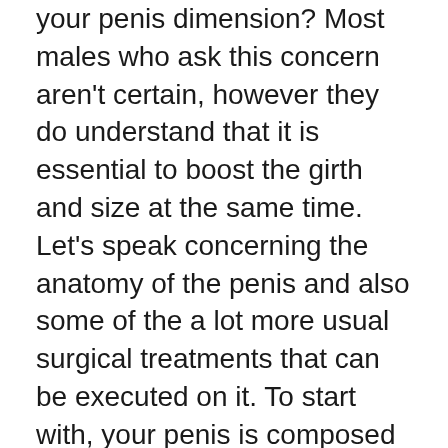your penis dimension? Most males who ask this concern aren't certain, however they do understand that it is essential to boost the girth and size at the same time. Let's speak concerning the anatomy of the penis and also some of the a lot more usual surgical treatments that can be executed on it. To start with, your penis is composed of three primary chambers that include the base, the erectile chamber, as well as the suspensory tendons. When erect it wraps around the body by regarding three inches.
Normally, a larger penis can assist you accomplish a larger erection and also give you a stronger erection which, in turn, provides you a larger penis and, thus, a bigger, longer penis. Nonetheless, this isn't